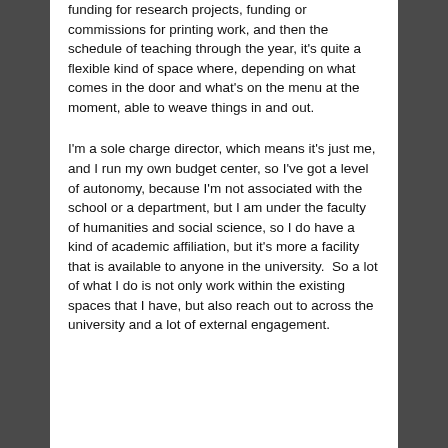funding for research projects, funding or commissions for printing work, and then the schedule of teaching through the year, it's quite a flexible kind of space where, depending on what comes in the door and what's on the menu at the moment, able to weave things in and out.
I'm a sole charge director, which means it's just me, and I run my own budget center, so I've got a level of autonomy, because I'm not associated with the school or a department, but I am under the faculty of humanities and social science, so I do have a kind of academic affiliation, but it's more a facility that is available to anyone in the university.  So a lot of what I do is not only work within the existing spaces that I have, but also reach out to across the university and a lot of external engagement.